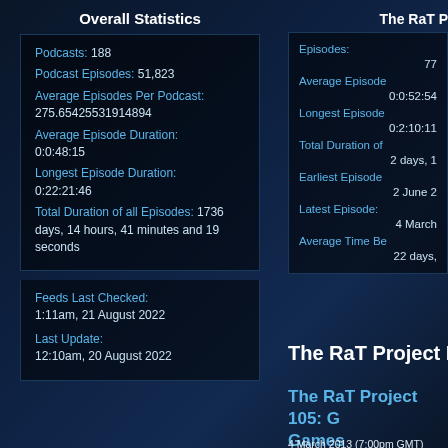Overall Statistics
Podcasts: 188
Podcast Episodes: 51,823
Average Episodes Per Podcast: 275.65425531914894
Average Episode Duration: 0:0:48:15
Longest Episode Duration: 0:22:21:46
Total Duration of all Episodes: 1736 days, 14 hours, 41 minutes and 19 seconds
Feeds Last Checked: 1:11am, 21 August 2022
Last Update: 12:10am, 20 August 2022
The RaT P
Episodes: 77
Average Episode: 0:0:52:54
Longest Episode: 0:2:10:11
Total Duration of: 2 days, 1
Earliest Episode: 2 June 2
Latest Episode: 4 March
Average Time Be: 22 days,
The RaT Project Live B
The RaT Project 105: Games
4 March 2013 (7:00pm GMT)
Episode Duration: 0 days, 0 hours
Direct Podcast Download